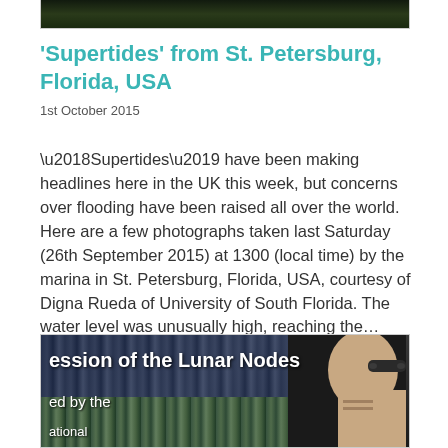[Figure (photo): Top portion of a photograph showing dark aerial/water scene, cropped at top of page]
'Supertides' from St. Petersburg, Florida, USA
1st October 2015
‘Supertides’ have been making headlines here in the UK this week, but concerns over flooding have been raised all over the world. Here are a few photographs taken last Saturday (26th September 2015) at 1300 (local time) by the marina in St. Petersburg, Florida, USA, courtesy of Digna Rueda of University of South Florida. The water level was unusually high, reaching the…
[Figure (screenshot): Video thumbnail showing a library bookshelf scene with overlay text reading 'ession of the Lunar Nodes' and 'ed by the' and 'ational', with a person visible on the right side wearing glasses]